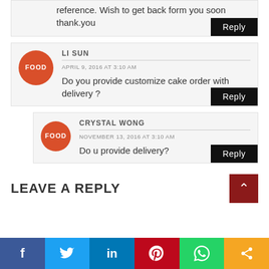reference. Wish to get back form you soon thank.you
Reply
LI SUN
APRIL 9, 2016 AT 3:10 AM
Do you provide customize cake order with delivery ?
Reply
CRYSTAL WONG
NOVEMBER 13, 2016 AT 3:10 AM
Do u provide delivery?
Reply
LEAVE A REPLY